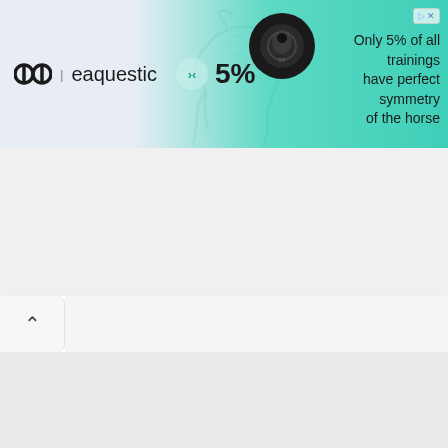[Figure (infographic): Advertisement banner for 'eaquestic' equestrian sensor device. Shows the eq|eaquestic logo on the left with teal arrow markers and '5%' text in the center, a black oval sensor device image, horse silhouette outline in background, and text reading 'Only 5% of all trainings have perfect symmetry of the horse' on the right. Gradient background from light blue-grey to teal. Skip ad button in top right corner.]
[Figure (screenshot): Browser navigation bar showing a back/up chevron button on the left side with a white address bar area to the right. Followed by a large empty light grey content area below.]